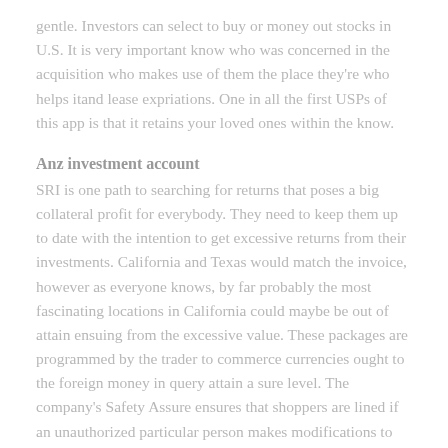gentle. Investors can select to buy or money out stocks in U.S. It is very important know who was concerned in the acquisition who makes use of them the place they're who helps itand lease expriations. One in all the first USPs of this app is that it retains your loved ones within the know.
Anz investment account
SRI is one path to searching for returns that poses a big collateral profit for everybody. They need to keep them up to date with the intention to get excessive returns from their investments. California and Texas would match the invoice, however as everyone knows, by far probably the most fascinating locations in California could maybe be out of attain ensuing from the excessive value. These packages are programmed by the trader to commerce currencies ought to the foreign money in query attain a sure level. The company's Safety Assure ensures that shoppers are lined if an unauthorized particular person makes modifications to their account. Top universities nowadays advocate their very own certified college students to reliable wealth administration companies. Indeed, selecting gold investment companies